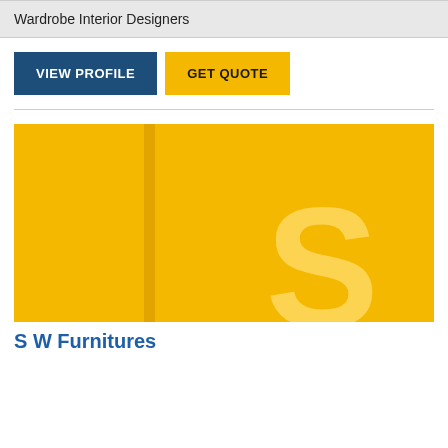Wardrobe Interior Designers
[Figure (other): Two buttons: VIEW PROFILE (dark blue) and GET QUOTE (yellow/gold)]
[Figure (logo): Yellow/gold square logo with a large stylized letter S and a vertical bar element]
S W Furnitures